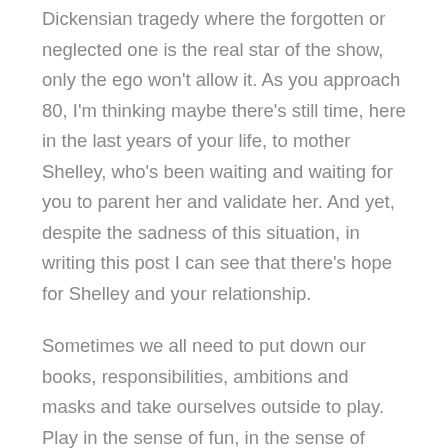Dickensian tragedy where the forgotten or neglected one is the real star of the show, only the ego won't allow it. As you approach 80, I'm thinking maybe there's still time, here in the last years of your life, to mother Shelley, who's been waiting and waiting for you to parent her and validate her. And yet, despite the sadness of this situation, in writing this post I can see that there's hope for Shelley and your relationship.
Sometimes we all need to put down our books, responsibilities, ambitions and masks and take ourselves outside to play. Play in the sense of fun, in the sense of relaxation too. Yes, let others cook, clean, care for us, or surprise us in a hundred small ways that show us how precious we are to them.